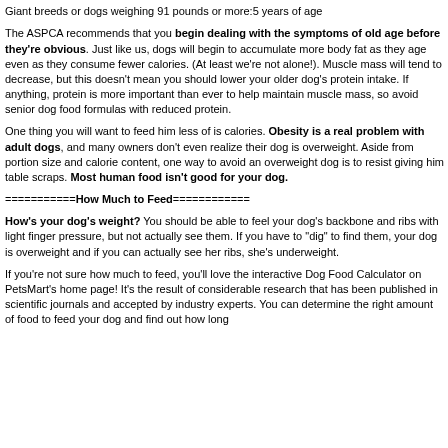Large breeds or dogs weighing 51 to 90 pounds:6 years of age
Giant breeds or dogs weighing 91 pounds or more:5 years of age
The ASPCA recommends that you begin dealing with the symptoms of old age before they're obvious. Just like us, dogs will begin to accumulate more body fat as they age even as they consume fewer calories. (At least we're not alone!). Muscle mass will tend to decrease, but this doesn't mean you should lower your older dog's protein intake. If anything, protein is more important than ever to help maintain muscle mass, so avoid senior dog food formulas with reduced protein.
One thing you will want to feed him less of is calories. Obesity is a real problem with adult dogs, and many owners don't even realize their dog is overweight. Aside from portion size and calorie content, one way to avoid an overweight dog is to resist giving him table scraps. Most human food isn't good for your dog.
===========How Much to Feed============
How's your dog's weight? You should be able to feel your dog's backbone and ribs with light finger pressure, but not actually see them. If you have to "dig" to find them, your dog is overweight and if you can actually see her ribs, she's underweight.
If you're not sure how much to feed, you'll love the interactive Dog Food Calculator on PetsMart's home page! It's the result of considerable research that has been published in scientific journals and accepted by industry experts. You can determine the right amount of food to feed your dog and find out how long...